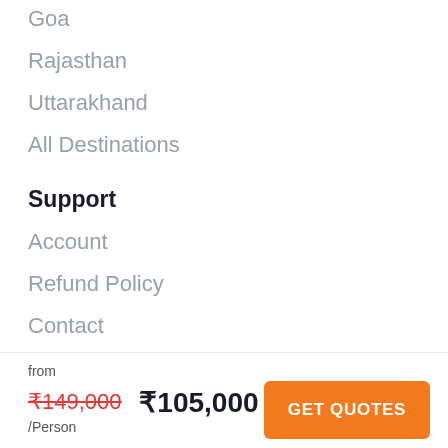Goa
Rajasthan
Uttarakhand
All Destinations
Support
Account
Refund Policy
Contact
Affiliate Program
Privacy Policy
from
₹149,000 ₹105,000
/Person
GET QUOTES